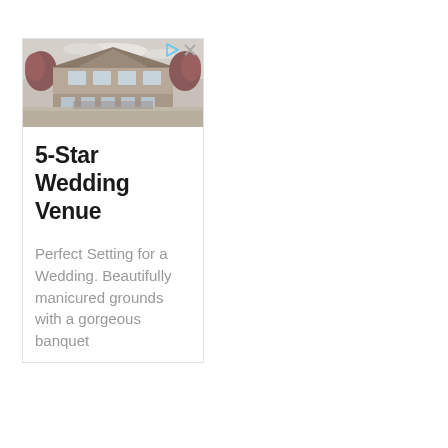[Figure (photo): Photograph of a large building that serves as a wedding venue, with architectural features including a prominent roof, large windows, and surrounding trees with reddish foliage. A group of people appears in front of the building.]
5-Star Wedding Venue
Perfect Setting for a Wedding. Beautifully manicured grounds with a gorgeous banquet